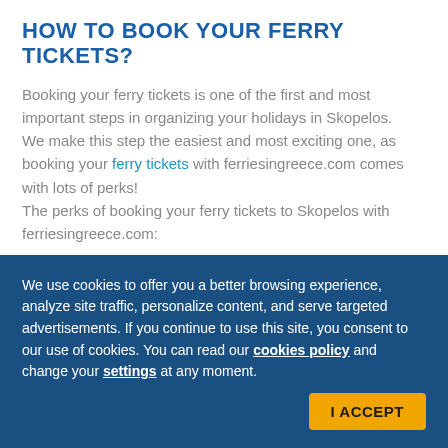HOW TO BOOK YOUR FERRY TICKETS?
Booking your ferry tickets is one of the first and most important steps in organizing your holidays in Skopelos.
We make this step the easiest and most exciting one, as booking your ferry tickets with ferriesingreece.com comes with lots of perks!
The perks of booking your ferry tickets to Skopelos with ferriesingreece.com:
We use cookies to offer you a better browsing experience, analyze site traffic, personalize content, and serve targeted advertisements. If you continue to use this site, you consent to our use of cookies. You can read our cookies policy and change your settings at any moment.
I ACCEPT